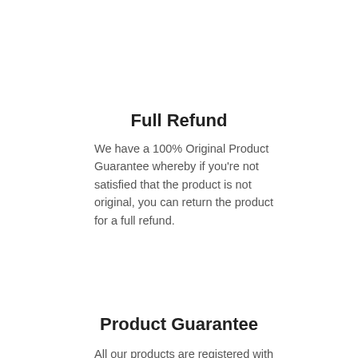Full Refund
We have a 100% Original Product Guarantee whereby if you're not satisfied that the product is not original, you can return the product for a full refund.
Product Guarantee
All our products are registered with the Manufacturer/distributor of the product.